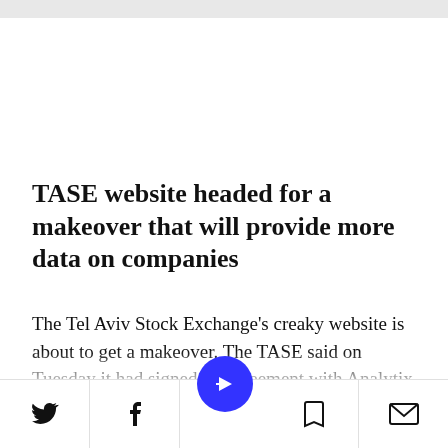TASE website headed for a makeover that will provide more data on companies
The Tel Aviv Stock Exchange's creaky website is about to get a makeover. The TASE said on Tuesday it had signed an agreement with Analytix Insight, a C[...]n company, to put
[toolbar: Twitter, Facebook, Share, Bookmark, Email]